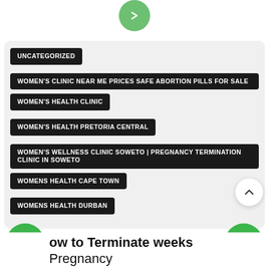[Figure (illustration): Green circular button with right-pointing chevron arrow at top center]
UNCATEGORIZED
WOMEN'S CLINIC NEAR ME PRICES SAFE ABORTION PILLS FOR SALE
WOMEN'S HEALTH CLINIC
WOMEN'S HEALTH PRETORIA CENTRAL
WOMEN'S WELLNESS CLINIC SOWETO | PREGNANCY TERMINATION CLINIC IN SOWETO
WOMENS HEALTH CAPE TOWN
WOMENS HEALTH DURBAN
Need Help? Chat with us
ow to Terminate weeks Pregnancy